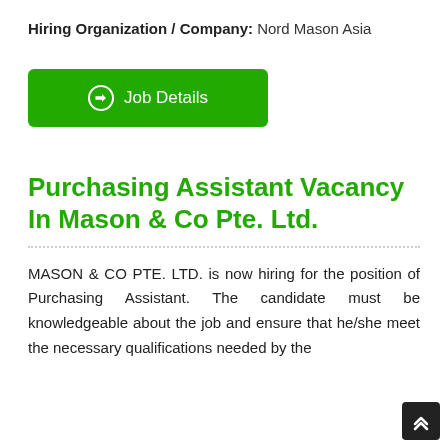Hiring Organization / Company: Nord Mason Asia
[Figure (other): Green 'Job Details' button with arrow icon]
Purchasing Assistant Vacancy In Mason & Co Pte. Ltd.
MASON & CO PTE. LTD. is now hiring for the position of Purchasing Assistant. The candidate must be knowledgeable about the job and ensure that he/she meet the necessary qualifications needed by the